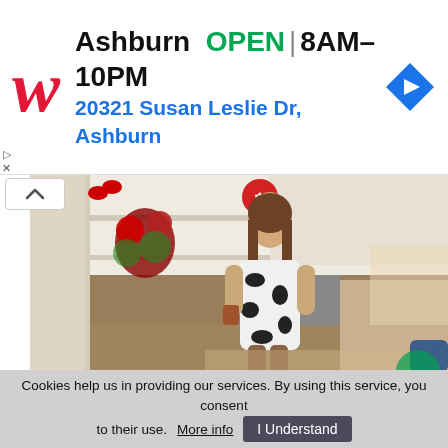[Figure (infographic): Walgreens advertisement banner showing the Walgreens logo (red italic W), store info: Ashburn OPEN 8AM-10PM, address 20321 Susan Leslie Dr, Ashburn, with a blue navigation diamond icon on the right]
[Figure (photo): A woman wearing a black and white cow-print dress standing in a cozy Christmas-decorated kitchen with wooden cabinets, holding a coffee cup. Red holiday wreaths and poinsettias are visible.]
Cookies help us in providing our services. By using this service, you consent to their use. More info